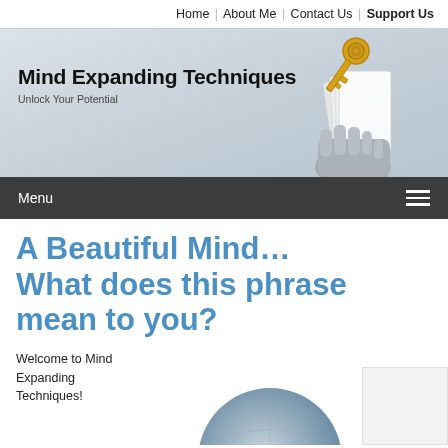Home | About Me | Contact Us | Support Us
Mind Expanding Techniques
Unlock Your Potential
[Figure (illustration): 3D illustration of a hand holding a key unlocking a row of door-shaped forms, in white and gold tones, on a grey gradient background]
Menu
A Beautiful Mind… What does this phrase mean to you?
Welcome to Mind Expanding Techniques!
[Figure (photo): Globe or brain-like spherical object partially visible at the bottom of the content area]
[Figure (other): White/grey rectangular widget box on the right side]